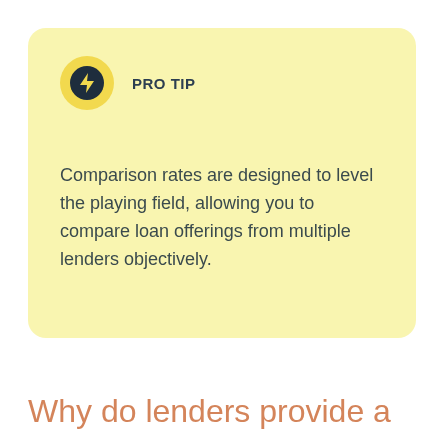[Figure (infographic): Yellow rounded rectangle callout box with a PRO TIP label (dark circle with lightning bolt icon, and bold text 'PRO TIP') and body text about comparison rates.]
Comparison rates are designed to level the playing field, allowing you to compare loan offerings from multiple lenders objectively.
Why do lenders provide a